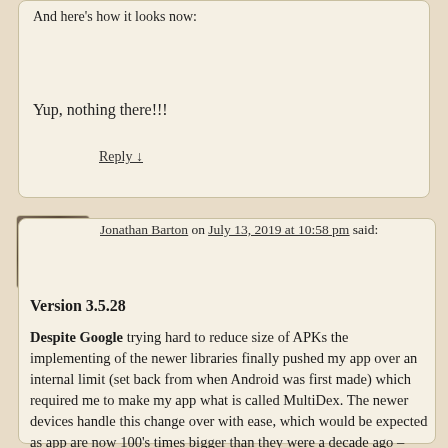And here's how it looks now:
Yup, nothing there!!!
Reply ↓
Jonathan Barton on July 13, 2019 at 10:58 pm said:
[Figure (photo): Avatar photo of Jonathan Barton, a man with gray/dark hair]
Version 3.5.28
Despite Google trying hard to reduce size of APKs the implementing of the newer libraries finally pushed my app over an internal limit (set back from when Android was first made) which required me to make my app what is called MultiDex. The newer devices handle this change over with ease, which would be expected as app are now 100's times bigger than they were a decade ago – but, older devices need special Google libraries referenced to run MultiDex. I had missed a library call which was crashing the app on Android 4.4 and less. I am very sorry for this lax, thanks for bearing with me 🙂